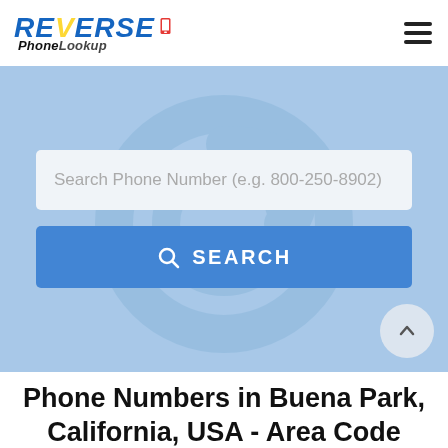REVERSE Phone Lookup
[Figure (screenshot): Hero section with light blue background, decorative phone/@ icon watermark, a search input field reading 'Search Phone Number (e.g. 800-250-8902)', and a blue SEARCH button with magnifier icon.]
Phone Numbers in Buena Park, California, USA - Area Code 714-